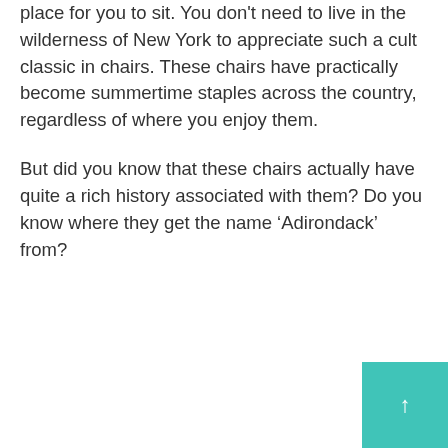place for you to sit. You don't need to live in the wilderness of New York to appreciate such a cult classic in chairs. These chairs have practically become summertime staples across the country, regardless of where you enjoy them.
But did you know that these chairs actually have quite a rich history associated with them? Do you know where they get the name ‘Adirondack’ from?